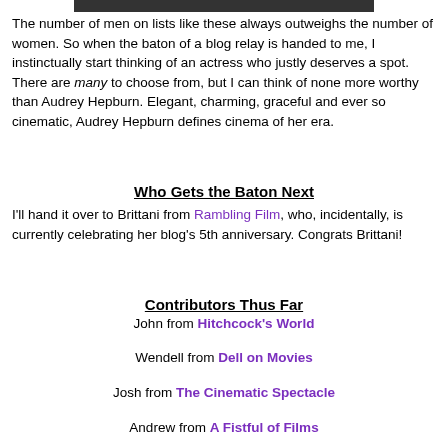[Figure (photo): Partial image bar at top of page]
The number of men on lists like these always outweighs the number of women. So when the baton of a blog relay is handed to me, I instinctually start thinking of an actress who justly deserves a spot. There are many to choose from, but I can think of none more worthy than Audrey Hepburn. Elegant, charming, graceful and ever so cinematic, Audrey Hepburn defines cinema of her era.
Who Gets the Baton Next
I'll hand it over to Brittani from Rambling Film, who, incidentally, is currently celebrating her blog's 5th anniversary. Congrats Brittani!
Contributors Thus Far
John from Hitchcock's World
Wendell from Dell on Movies
Josh from The Cinematic Spectacle
Andrew from A Fistful of Films